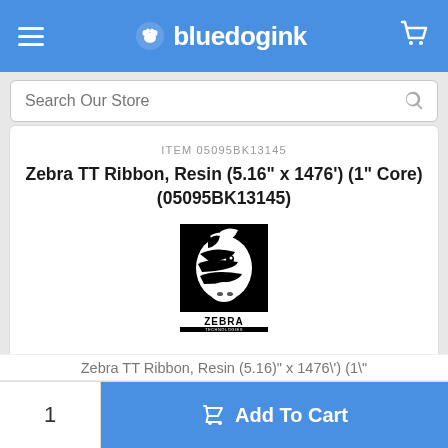bluedogink
Search Our Store
ITEM 05095BK13145
Zebra TT Ribbon, Resin (5.16" x 1476') (1" Core) (05095BK13145)
[Figure (logo): Zebra Technologies logo: black and white zebra head illustration above the text ZEBRA TECHNOLOGIES]
Zebra TT Ribbon, Resin (5.16)" x 1476\') (1\"
1
Add To Cart